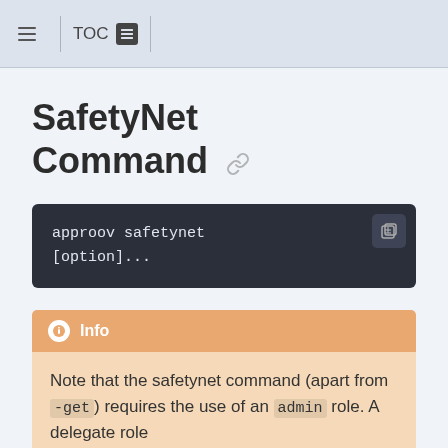≡ | TOC
SafetyNet Command
approov safetynet [option]...
Info
Note that the safetynet command (apart from -get) requires the use of an admin role. A delegate role